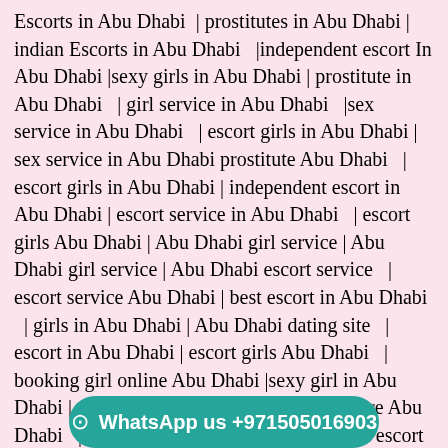Escorts in Abu Dhabi | prostitutes in Abu Dhabi | indian Escorts in Abu Dhabi | independent escort In Abu Dhabi |sexy girls in Abu Dhabi | prostitute in Abu Dhabi | girl service in Abu Dhabi |sex service in Abu Dhabi | escort girls in Abu Dhabi | sex service in Abu Dhabi prostitute Abu Dhabi | escort girls in Abu Dhabi | independent escort in Abu Dhabi | escort service in Abu Dhabi | escort girls Abu Dhabi | Abu Dhabi girl service | Abu Dhabi girl service | Abu Dhabi escort service | escort service Abu Dhabi | best escort in Abu Dhabi | girls in Abu Dhabi | Abu Dhabi dating site | escort in Abu Dhabi | escort girls Abu Dhabi | booking girl online Abu Dhabi |sexy girl in Abu Dhabi | Abu Dhabi escort girl | escorts for hire Abu Dhabi | escort girl Abu Dhabi | Abu Dhabi escort agency | Abu Dhabi sexy girl | escorts escort agency in Abu Dhabi | female escort in Abu Dhabi | Abu Dhabi female escort | indian escort Abu Dhabi | Abu Dhabi girls | escort in Abu Dhabi | escort agency in Abu Dhabi | Abu Dhabi g... Abu Dhabi | escort Abu Dhabi | girl in Abu Dhabi |
WhatsApp us +971505016903